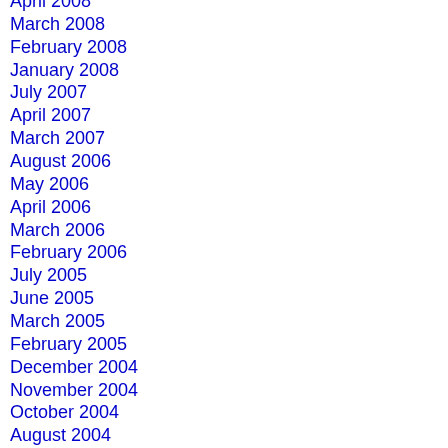April 2008
March 2008
February 2008
January 2008
July 2007
April 2007
March 2007
August 2006
May 2006
April 2006
March 2006
February 2006
July 2005
June 2005
March 2005
February 2005
December 2004
November 2004
October 2004
August 2004
April 2004
March 2004
February 2004
October 2003